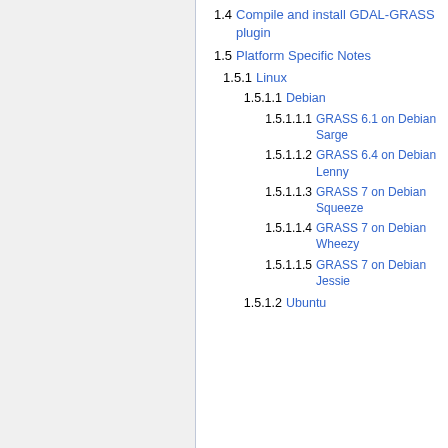1.4 Compile and install GDAL-GRASS plugin
1.5 Platform Specific Notes
1.5.1 Linux
1.5.1.1 Debian
1.5.1.1.1 GRASS 6.1 on Debian Sarge
1.5.1.1.2 GRASS 6.4 on Debian Lenny
1.5.1.1.3 GRASS 7 on Debian Squeeze
1.5.1.1.4 GRASS 7 on Debian Wheezy
1.5.1.1.5 GRASS 7 on Debian Jessie
1.5.1.2 Ubuntu